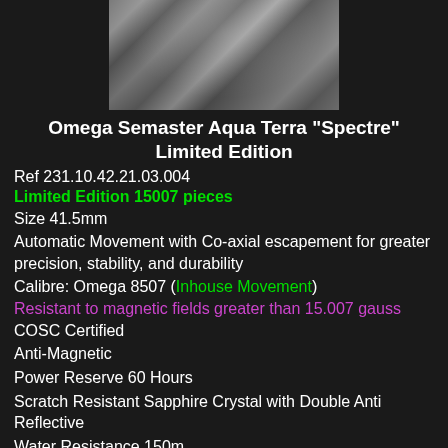[Figure (photo): Close-up photo of a watch bracelet/band, appearing dark/metallic against a blurred background, viewed from above.]
Omega Semaster Aqua Terra "Spectre" Limited Edition
Ref 231.10.42.21.03.004
Limited Edition 15007 pieces
Size 41.5mm
Automatic Movement with Co-axial escapement for greater precision, stability, and durability
Calibre: Omega 8507 (Inhouse Movement)
Resistant to magnetic fields greater than 15.007 gauss
COSC Certified
Anti-Magnetic
Power Reserve 60 Hours
Scratch Resistant Sapphire Crystal with Double Anti Reflective
Water Resistance 150m
FULLSET (Box & Papers)